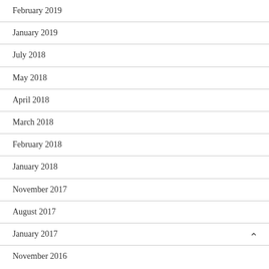February 2019
January 2019
July 2018
May 2018
April 2018
March 2018
February 2018
January 2018
November 2017
August 2017
January 2017
November 2016